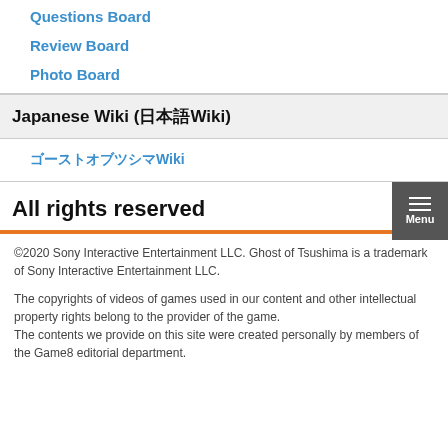Questions Board
Review Board
Photo Board
Japanese Wiki (日本語Wiki)
ゴーストオブツシマWiki
All rights reserved
©2020 Sony Interactive Entertainment LLC. Ghost of Tsushima is a trademark of Sony Interactive Entertainment LLC.

The copyrights of videos of games used in our content and other intellectual property rights belong to the provider of the game.
The contents we provide on this site were created personally by members of the Game8 editorial department.